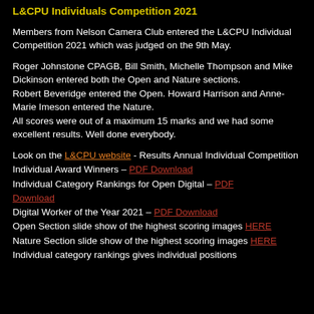L&CPU Individuals Competition 2021
Members from Nelson Camera Club entered the L&CPU Individual Competition 2021 which was judged on the 9th May.
Roger Johnstone CPAGB, Bill Smith, Michelle Thompson and Mike Dickinson entered both the Open and Nature sections.
Robert Beveridge entered the Open. Howard Harrison and Anne-Marie Imeson entered the Nature.
All scores were out of a maximum 15 marks and we had some excellent results. Well done everybody.
Look on the L&CPU website - Results Annual Individual Competition
Individual Award Winners – PDF Download
Individual Category Rankings for Open Digital – PDF Download
Digital Worker of the Year 2021 – PDF Download
Open Section slide show of the highest scoring images HERE
Nature Section slide show of the highest scoring images HERE
Individual category rankings gives individual positions